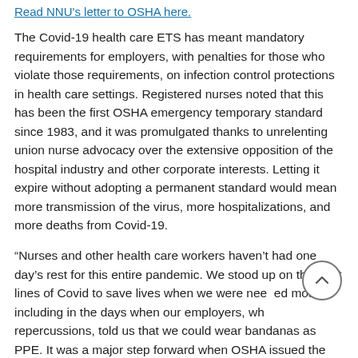Read NNU's letter to OSHA here.
The Covid-19 health care ETS has meant mandatory requirements for employers, with penalties for those who violate those requirements, on infection control protections in health care settings. Registered nurses noted that this has been the first OSHA emergency temporary standard since 1983, and it was promulgated thanks to unrelenting union nurse advocacy over the extensive opposition of the hospital industry and other corporate interests. Letting it expire without adopting a permanent standard would mean more transmission of the virus, more hospitalizations, and more deaths from Covid-19.
“Nurses and other health care workers haven’t had one day’s rest for this entire pandemic. We stood up on the front lines of Covid to save lives when we were needed most, including in the days when our employers, without repercussions, told us that we could wear bandanas as PPE. It was a major step forward when OSHA issued the Covid-19 health care ETS in June, and it is imperative